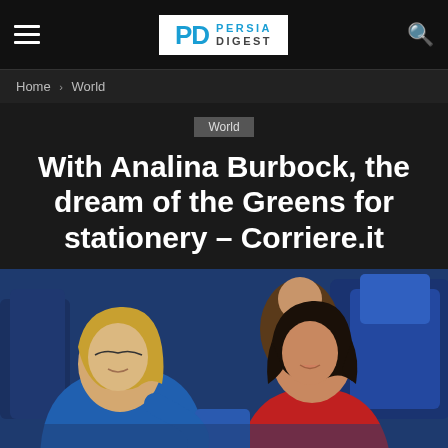Persia Digest
Home › World
World
With Analina Burbock, the dream of the Greens for stationery – Corriere.it
[Figure (photo): Two women sitting in blue parliament seats, one blonde in a blue jacket leaning toward the other who has dark hair and wears a red top]